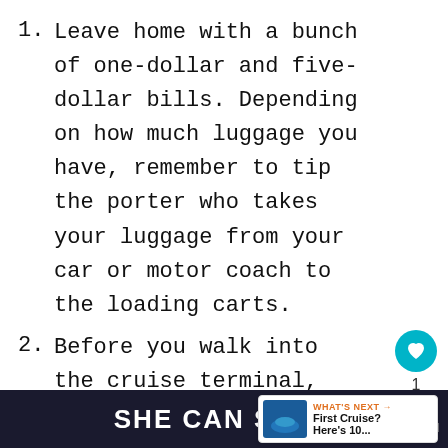1. Leave home with a bunch of one-dollar and five-dollar bills. Depending on how much luggage you have, remember to tip the porter who takes your luggage from your car or motor coach to the loading carts.
2. Before you walk into the cruise terminal, have your boarding documents ready to grab. This includes your passport, cr... ship boarding pass and any other
[Figure (other): SHE CAN STEM footer advertisement banner in dark navy background with bold white text]
m word